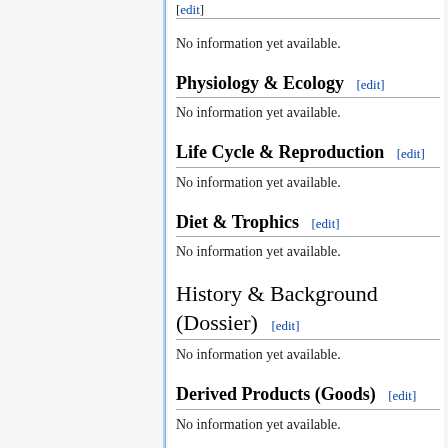[edit]
No information yet available.
Physiology & Ecology [edit]
No information yet available.
Life Cycle & Reproduction [edit]
No information yet available.
Diet & Trophics [edit]
No information yet available.
History & Background (Dossier) [edit]
No information yet available.
Derived Products (Goods) [edit]
No information yet available.